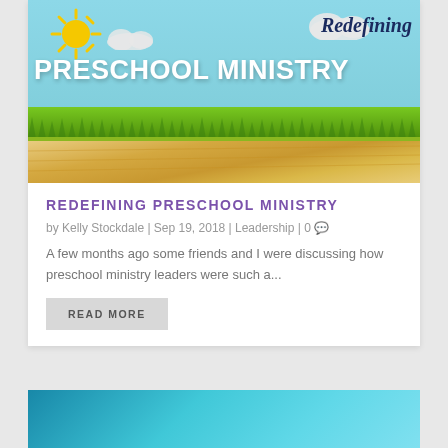[Figure (illustration): Blog post header image for Redefining Preschool Ministry. Sky blue background with cartoon sun, clouds, green grass, and wooden floor. Text reads 'Redefining PRESCHOOL MINISTRY' in white and navy.]
REDEFINING PRESCHOOL MINISTRY
by Kelly Stockdale | Sep 19, 2018 | Leadership | 0
A few months ago some friends and I were discussing how preschool ministry leaders were such a...
READ MORE
[Figure (photo): Partial view of a second blog post image featuring teal/turquoise background, partially visible at the bottom of the page.]